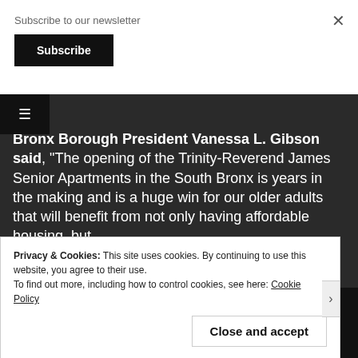Subscribe to our newsletter
Subscribe
Bronx Borough President Vanessa L. Gibson said, “The opening of the Trinity-Reverend James Senior Apartments in the South Bronx is years in the making and is a huge win for our older adults that will benefit from not only having affordable housing, but
Privacy & Cookies: This site uses cookies. By continuing to use this website, you agree to their use.
To find out more, including how to control cookies, see here: Cookie Policy
Close and accept
[Figure (screenshot): Advertisement banner featuring DuckDuckGo app promotion with 'All in One Free App' text on orange background and DuckDuckGo logo on dark background]